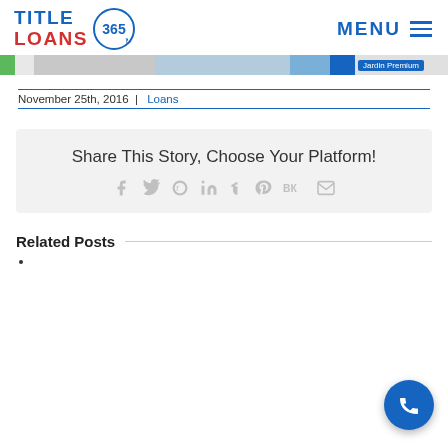TITLE LOANS 365 | MENU
[Figure (screenshot): Partial screenshot strip showing a map or web page with 'Jardin Premium' label in blue]
November 25th, 2016 | Loans
Share This Story, Choose Your Platform!
[Figure (infographic): Social share icons: Facebook, Twitter, Reddit, LinkedIn, Tumblr, Pinterest, VK, Email]
Related Posts